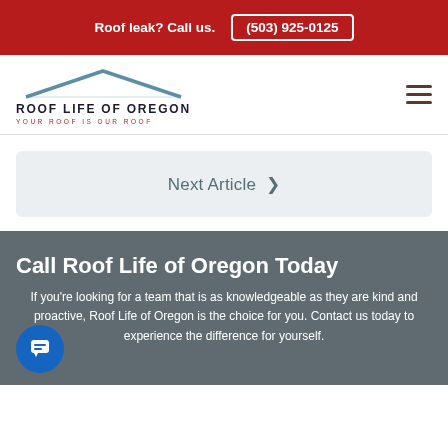Roof leak? Call us. (503) 925-0125
[Figure (logo): Roof Life of Oregon logo with roof silhouette, tagline YOUR ROOF IS OUR ROOF]
Next Article ❯
Call Roof Life of Oregon Today
If you're looking for a team that is as knowledgeable as they are kind and proactive, Roof Life of Oregon is the choice for you. Contact us today to experience the difference for yourself.